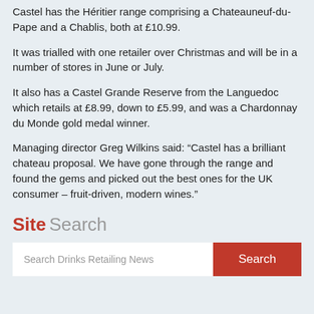Castel has the Héritier range comprising a Chateauneuf-du-Pape and a Chablis, both at £10.99.
It was trialled with one retailer over Christmas and will be in a number of stores in June or July.
It also has a Castel Grande Reserve from the Languedoc which retails at £8.99, down to £5.99, and was a Chardonnay du Monde gold medal winner.
Managing director Greg Wilkins said: “Castel has a brilliant chateau proposal. We have gone through the range and found the gems and picked out the best ones for the UK consumer – fruit-driven, modern wines.”
Site Search
Search Drinks Retailing News